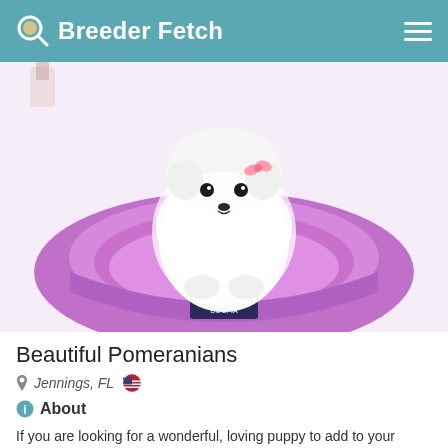Breeder Fetch
[Figure (photo): A small fluffy white Pomeranian puppy sitting in a purple/violet round dog bed branded 'DOGPIA'. The puppy has dark eyes and a very fluffy white coat. Background is light/white.]
Beautiful Pomeranians
Jennings, FL 🇺🇸
About
If you are looking for a wonderful, loving puppy to add to your